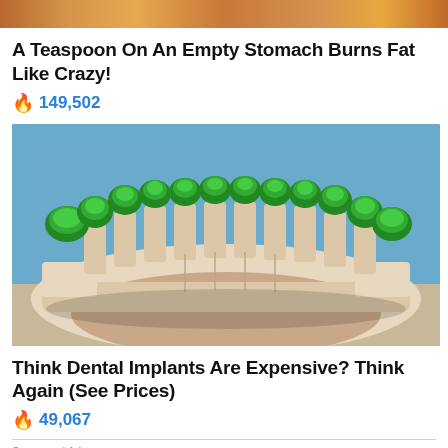[Figure (photo): Top cropped image showing food or similar content with orange/brown tones]
A Teaspoon On An Empty Stomach Burns Fat Like Crazy!
🔥 149,502
[Figure (photo): Dental implant model showing a row of teeth with green-tipped implants on a beige/cream colored base, photographed against a blue background]
Think Dental Implants Are Expensive? Think Again (See Prices)
🔥 49,067
Sponsored Ad